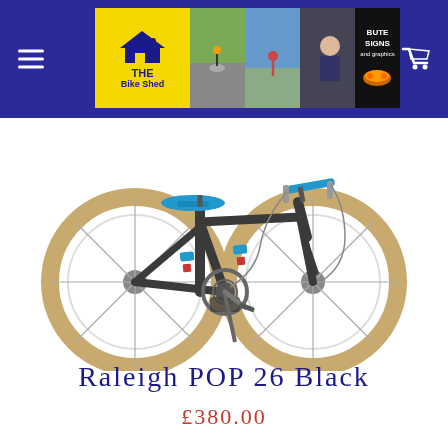The Bike Shed — navigation header with logo and cart icon
[Figure (photo): A Raleigh POP 26 Black children's bike with tan/brown rims, dark grey frame, blue saddle and handlebars, and red/blue accents on the frame.]
Raleigh POP 26 Black
£380.00